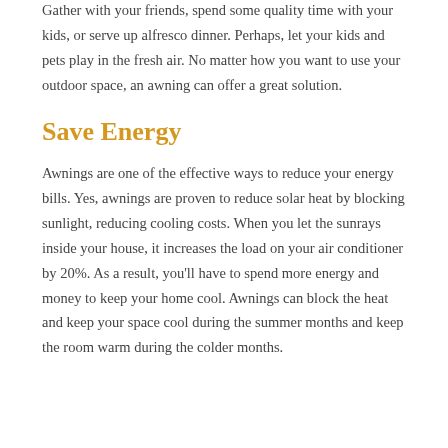relaxing oasis with awnings. Yes, your patio or porch and backyards can become an extension of your living space. Gather with your friends, spend some quality time with your kids, or serve up alfresco dinner. Perhaps, let your kids and pets play in the fresh air. No matter how you want to use your outdoor space, an awning can offer a great solution.
Save Energy
Awnings are one of the effective ways to reduce your energy bills. Yes, awnings are proven to reduce solar heat by blocking sunlight, reducing cooling costs. When you let the sunrays inside your house, it increases the load on your air conditioner by 20%. As a result, you'll have to spend more energy and money to keep your home cool. Awnings can block the heat and keep your space cool during the summer months and keep the room warm during the colder months.